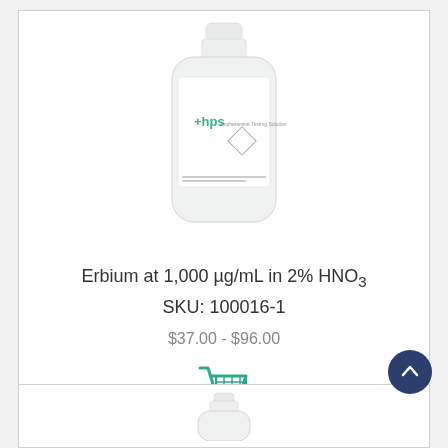[Figure (photo): White plastic reagent bottle with HPS logo and label showing hazard diamond, product: Erbium at 1,000 µg/mL in 2% HNO3]
Erbium at 1,000 µg/mL in 2% HNO3
SKU: 100016-1
$37.00 - $96.00
[Figure (illustration): Shopping cart icon in teal/green color]
[Figure (photo): Partial view of a second product bottle, peeking at bottom of page]